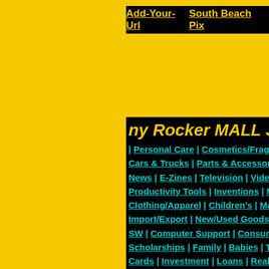Add-Your-Url | South Beach Pix
ny Rocker MALL Jimm
| Personal Care | Cosmetics/Fragrance | Handbags | Cars & Trucks | Parts & Accessories | Rentals | Too | News | E-Zines | Television | Videos/Movies | Busine | Productivity Tools | Inventions | Manufacturing | Wh | Clothing/Apparel | Children's | Malls | Men's | Wome | Import/Export | New/Used Goods | Shipping | Telep | SW | Computer Support | Consumer Electronics | P | Scholarships | Family | Babies | Teens | Children | F | Cards | Investment | Loans | Real Estate | Food & D | Games & Toys | Electronic Toys | Games | Toys | Gi | Health & Beauty | Bath & Body | Cosmetics | Health | Hobbies & Collectibles | Art | Auctions | Collectibles | Supplies | Equipment - Home Office - Supplies | Ins | Construction | Furniture | Garden | Home Appliance | Online/Wireless | Entertainment | Dating/Personals | Outdoors | Party Goods | Shops/Malls | Virtual Malls | Water Sports | Travel | Reservations | Air | Cars | Ho | Cams | Website Service | Advice | Banner ads | Inte | Design | Web Hosting/Servers | Web Registration